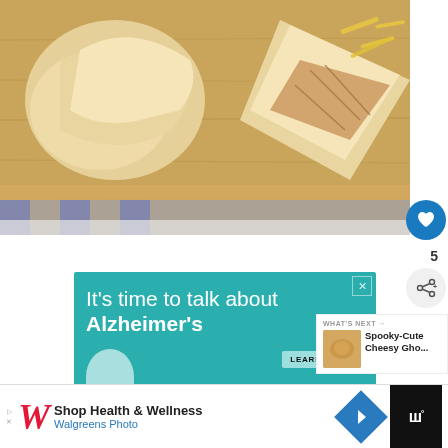[Figure (photo): Food photo: bread/pastry wraps with shredded chicken and cheese on a wooden cutting board, with a blue and white checkered cloth underneath]
[Figure (screenshot): Advertisement: teal background with text 'It's time to talk about Alzheimer's', LEARN MORE button, alz.org/ourstories URL, and a small circular avatar]
WHAT'S NEXT → Spooky-Cute Cheesy Gho...
[Figure (screenshot): Bottom banner advertisement for Walgreens Photo: Shop Health & Wellness with Walgreens logo and navigation arrow icon]